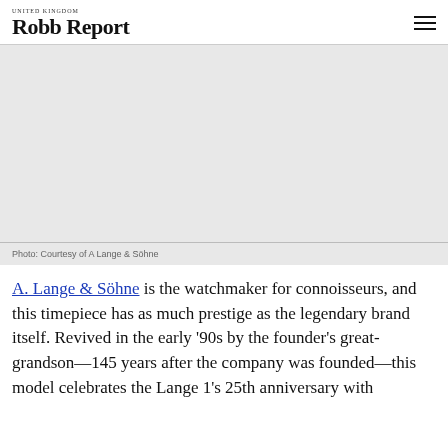Robb Report UNITED KINGDOM
[Figure (photo): Image area showing a watch or related luxury item, attributed to A Lange & Söhne]
Photo: Courtesy of A Lange & Söhne
A. Lange & Söhne is the watchmaker for connoisseurs, and this timepiece has as much prestige as the legendary brand itself. Revived in the early '90s by the founder's great-grandson—145 years after the company was founded—this model celebrates the Lange 1's 25th anniversary with